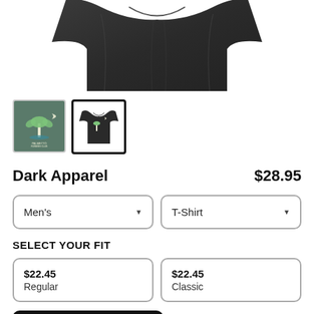[Figure (photo): Dark grey/black folded t-shirt product photo showing the top portion of the shirt with a design on it]
[Figure (photo): Two product thumbnails: left thumbnail shows a logo design on dark background (palmetto tree/moon), right thumbnail (selected with black border) shows the t-shirt with the same design printed on it]
Dark Apparel
$28.95
Men's
T-Shirt
SELECT YOUR FIT
$22.45
Regular
$22.45
Classic